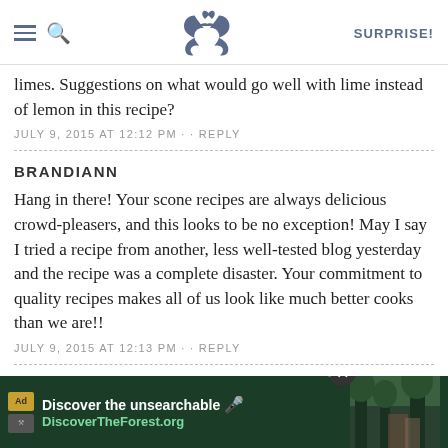SK SURPRISE!
limes. Suggestions on what would go well with lime instead of lemon in this recipe?
JULY 9, 2015 AT 12:12 PM · · REPLY
BRANDIANN
Hang in there! Your scone recipes are always delicious crowd-pleasers, and this looks to be no exception! May I say I tried a recipe from another, less well-tested blog yesterday and the recipe was a complete disaster. Your commitment to quality recipes makes all of us look like much better cooks than we are!!
JULY 9, 2015 AT 12:13 PM · · REPLY
KRIS
I admit t...finally moved o...told
[Figure (screenshot): Advertisement overlay: 'Discover the unsearchable / DiscoverTheForest.org' with forest photo and close button]